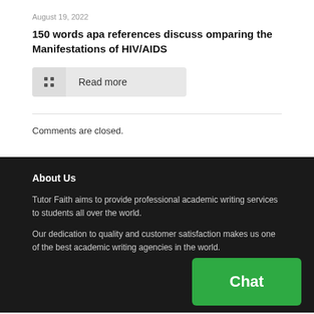August 19, 2022
150 words apa references discuss omparing the Manifestations of HIV/AIDS
Read more
Comments are closed.
About Us
Tutor Faith aims to provide professional academic writing services to students all over the world.
Our dedication to quality and customer satisfaction makes us one of the best academic writing agencies in the world.